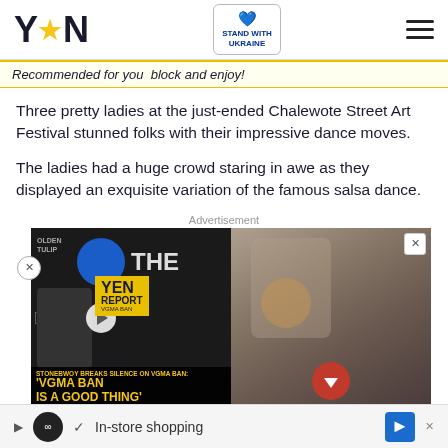YEN | STAND WITH UKRAINE
Recommended for you  block and enjoy!
Three pretty ladies at the just-ended Chalewote Street Art Festival stunned folks with their impressive dance moves.
The ladies had a huge crowd staring in awe as they displayed an exquisite variation of the famous salsa dance.
Advertisement
[Figure (screenshot): Advertisement with YEN Report video and a girl holding a dog. Bottom of ad shows 'STONEBWOY BREAKS SILENCE ON VGMA BAN: VGMA BAN IS A GOOD THING'. Bottom bar: In-store shopping ad.]